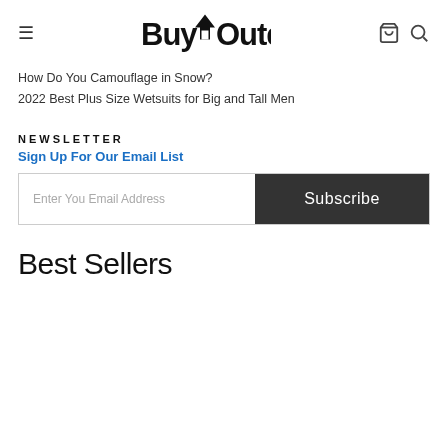BuyOutdoors
How Do You Camouflage in Snow?
2022 Best Plus Size Wetsuits for Big and Tall Men
NEWSLETTER
Sign Up For Our Email List
Enter You Email Address   Subscribe
Best Sellers